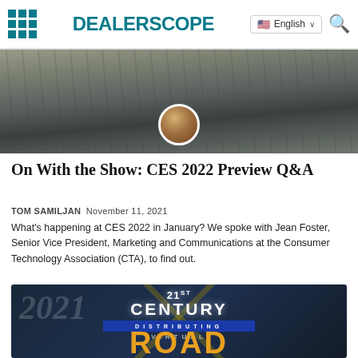DEALERSCOPE
[Figure (photo): Aerial view of a large convention center or arena complex, with a circular inset photo overlay at the bottom center]
On With the Show: CES 2022 Preview Q&A
TOM SAMILJAN  November 11, 2021
What's happening at CES 2022 in January? We spoke with Jean Foster, Senior Vice President, Marketing and Communications at the Consumer Technology Association (CTA), to find out.
[Figure (photo): 21st Century Distributing Virtual Road Show promotional banner with stylized text and dark blue/gold color scheme, featuring '2021' and 'ROAD' text]